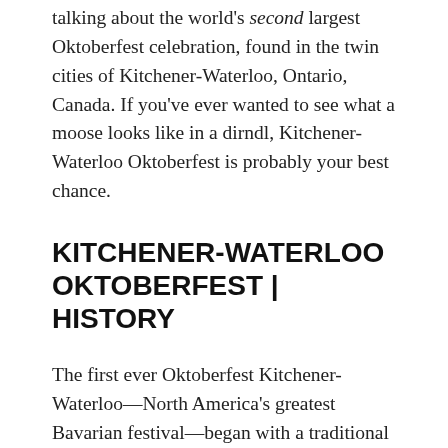talking about the world's second largest Oktoberfest celebration, found in the twin cities of Kitchener-Waterloo, Ontario, Canada. If you've ever wanted to see what a moose looks like in a dirndl, Kitchener-Waterloo Oktoberfest is probably your best chance.
KITCHENER-WATERLOO OKTOBERFEST | HISTORY
The first ever Oktoberfest Kitchener-Waterloo—North America's greatest Bavarian festival—began with a traditional keg tapping on October 14, 1969. (They're actually pros at this because it's almost exactly like tapping a maple tree.) Before this, the local German club had hosted a smaller version of an Oktoberfest. Entrepreneurial Canadians they